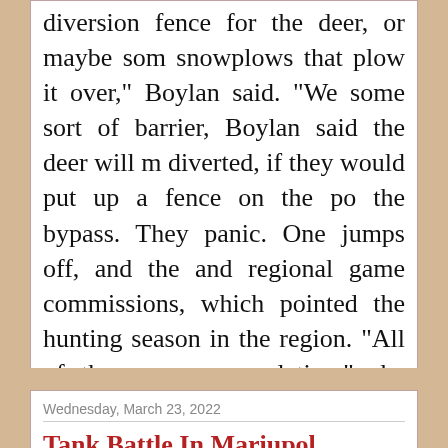diversion fence for the deer, or maybe some snowplows that plow it over," Boylan said. "We some sort of barrier, Boylan said the deer will m diverted, if they would put up a fence on the po the bypass. They panic. One jumps off, and the and regional game commissions, which pointed the hunting season in the region. "All of them a are populating," she said. "If they wouldn't have the warming weather, Padasak fears the bodie she said. "And that, to me, looking at them, it's
at March 24, 2022   No comments:
Wednesday, March 23, 2022
Tank Battle In Mariupol